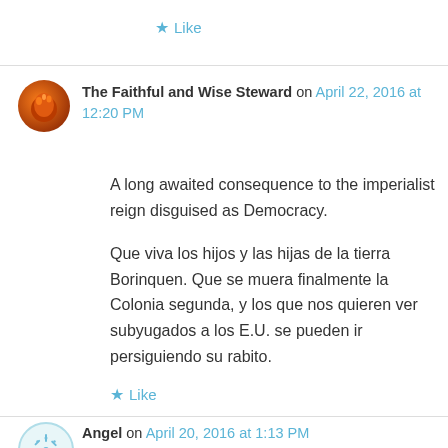★ Like
The Faithful and Wise Steward on April 22, 2016 at 12:20 PM
A long awaited consequence to the imperialist reign disguised as Democracy.

Que viva los hijos y las hijas de la tierra Borinquen. Que se muera finalmente la Colonia segunda, y los que nos quieren ver subyugados a los E.U. se pueden ir persiguiendo su rabito.
★ Like
Angel on April 20, 2016 at 1:13 PM